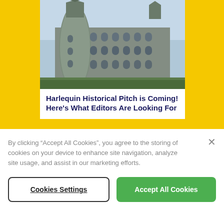[Figure (photo): Photograph of a large grey stone Scottish castle with turrets and many arched windows, taken from below against a light blue sky.]
Harlequin Historical Pitch is Coming! Here’s What Editors Are Looking For
By clicking “Accept All Cookies”, you agree to the storing of cookies on your device to enhance site navigation, analyze site usage, and assist in our marketing efforts.
Cookies Settings
Accept All Cookies